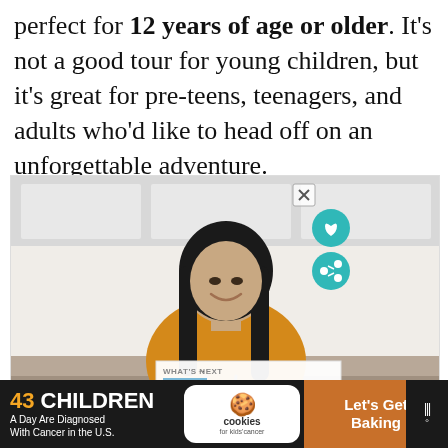perfect for 12 years of age or older. It's not a good tour for young children, but it's great for pre-teens, teenagers, and adults who'd like to head off on an unforgettable adventure.
[Figure (photo): Woman smiling and eating breakfast at a kitchen table, holding utensils over a plate of food with orange juice, kitchen in background. Overlaid with UI elements: close button, heart/share action buttons, and a 'What's Next' panel showing 'Ziplining in Hawaii: Whe...']
[Figure (infographic): Advertisement banner: dark background on left reading '43 CHILDREN A Day Are Diagnosed With Cancer in the U.S.', center white panel with 'cookies for kids cancer' logo, right brown panel reading 'Let's Get Baking', with close button and logo on far right.]